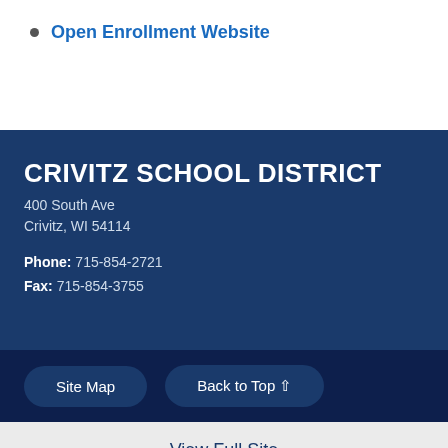Open Enrollment Website
CRIVITZ SCHOOL DISTRICT
400 South Ave
Crivitz, WI 54114

Phone: 715-854-2721
Fax: 715-854-3755
Site Map   Back to Top   View Full Site